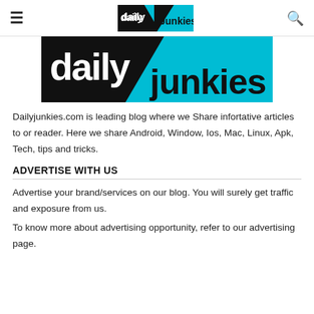daily junkies [logo] [search icon]
[Figure (logo): Daily Junkies logo — large banner with black triangle on left showing 'daily' in white bold text, cyan/teal triangle on right showing 'junkies' in black bold text]
Dailyjunkies.com is leading blog where we Share infortative articles to or reader. Here we share Android, Window, Ios, Mac, Linux, Apk, Tech, tips and tricks.
ADVERTISE WITH US
Advertise your brand/services on our blog. You will surely get traffic and exposure from us.
To know more about advertising opportunity, refer to our advertising page.